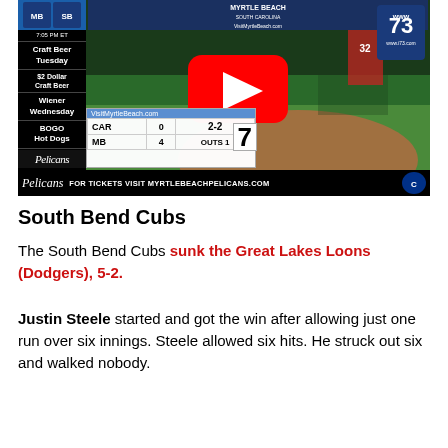[Figure (screenshot): YouTube video thumbnail showing a Myrtle Beach Pelicans baseball game with YouTube play button overlay. Scoreboard shows CAR 0, MB 4, 2-2 count, OUTS 1, inning 7. Bottom bar reads FOR TICKETS VISIT MYRTLEBEACHPELICANS.COM. Left sidebar shows Craft Beer Tuesday, $2 Dollar Craft Beer, Wiener Wednesday, BOGO Hot Dogs promotions.]
South Bend Cubs
The South Bend Cubs sunk the Great Lakes Loons (Dodgers), 5-2.
Justin Steele started and got the win after allowing just one run over six innings. Steele allowed six hits. He struck out six and walked nobody.